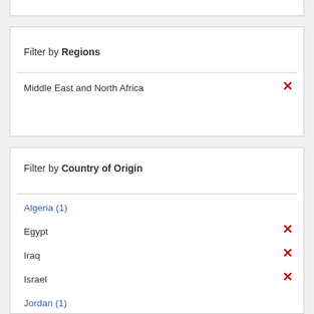Filter by Regions
Middle East and North Africa ✕
Filter by Country of Origin
Algeria (1)
Egypt ✕
Iraq ✕
Israel ✕
Jordan (1)
Kuwait (1)